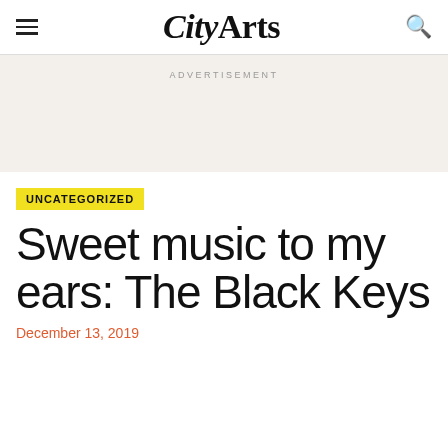CityArts
ADVERTISEMENT
UNCATEGORIZED
Sweet music to my ears: The Black Keys
December 13, 2019